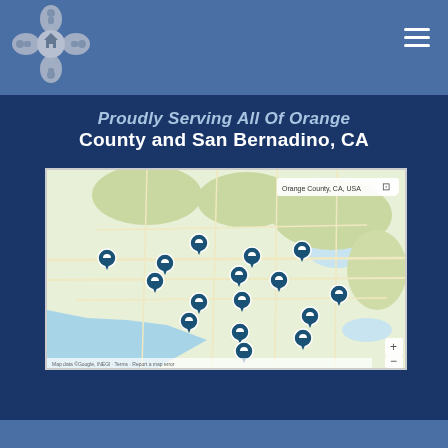[Figure (logo): Decorative logo icon with human figures, gray/silver tones]
Proudly Serving All Of Orange County and San Bernadino, CA
[Figure (map): Google Maps view of the Southern California region including Orange County and San Bernardino, CA with approximately 16 blue location pin markers scattered across cities including Los Angeles, Pasadena, San Bernardino, Riverside, Moreno Valley, and surrounding areas. Map label reads 'Orange County, CA, USA'.]